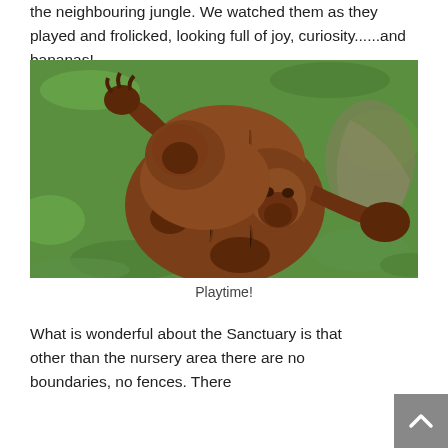the neighbouring jungle. We watched them as they played and frolicked, looking full of joy, curiosity......and bananas!
[Figure (photo): Two orangutans playing and wrestling on green grass, viewed from above. The animals have reddish-brown fur and appear to be young.]
Playtime!
What is wonderful about the Sanctuary is that other than the nursery area there are no boundaries, no fences. There